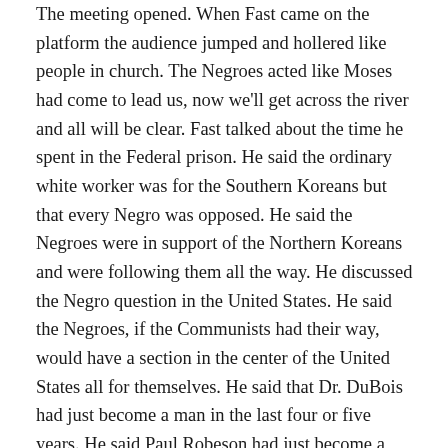The meeting opened. When Fast came on the platform the audience jumped and hollered like people in church. The Negroes acted like Moses had come to lead us, now we'll get across the river and all will be clear. Fast talked about the time he spent in the Federal prison. He said the ordinary white worker was for the Southern Koreans but that every Negro was opposed. He said the Negroes were in support of the Northern Koreans and were following them all the way. He discussed the Negro question in the United States. He said the Negroes, if the Communists had their way, would have a section in the center of the United States all for themselves. He said that Dr. DuBois had just become a man in the last four or five years. He said Paul Robeson had just become a man, a real man, ten years ago. If the Negroes got their emancipation Paul Robeson would be the Negro who had led them to it.